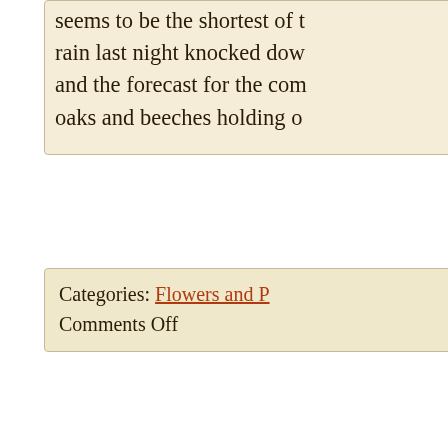seems to be the shortest of the rain last night knocked down and the forecast for the com oaks and beeches holding o
Categories: Flowers and P
Comments Off
Japanese Maple
Photograph taken on Saturday, Novemb
Just over two weeks ago (o 02, 2018) I posted a picture maples from the other end o neighborhood. I mentioned that most of the leaves were trees. Not all the leaves, how driving home past that yard